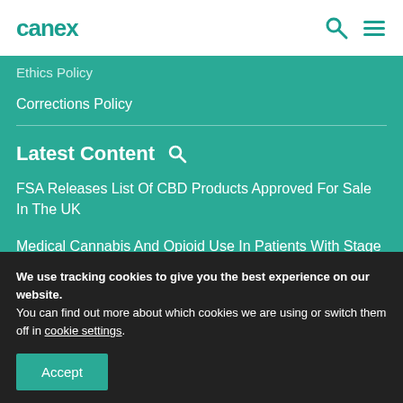canex
Ethics Policy
Corrections Policy
Latest Content
FSA Releases List Of CBD Products Approved For Sale In The UK
Medical Cannabis And Opioid Use In Patients With Stage IV Cancer
We use tracking cookies to give you the best experience on our website.
You can find out more about which cookies we are using or switch them off in cookie settings.
Accept